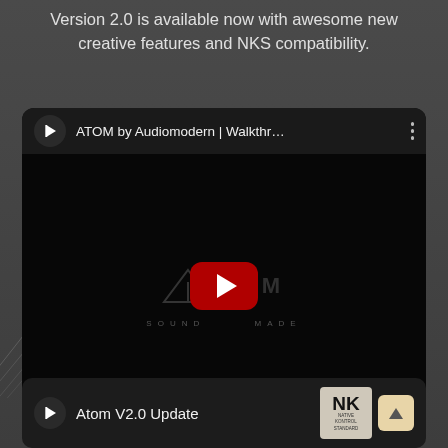Version 2.0 is available now with awesome new creative features and NKS compatibility.
[Figure (screenshot): YouTube video embed for 'ATOM by Audiomodern | Walkthr...' showing a dark video thumbnail with the ATOM logo and a YouTube play button in the center. The video player has a top bar with YouTube logo, video title, and three-dot menu.]
[Figure (screenshot): Partial YouTube video card showing 'Atom V2.0 Update' title with Audiomodern logo, NKS badge partially visible, and a scroll-up button on the right.]